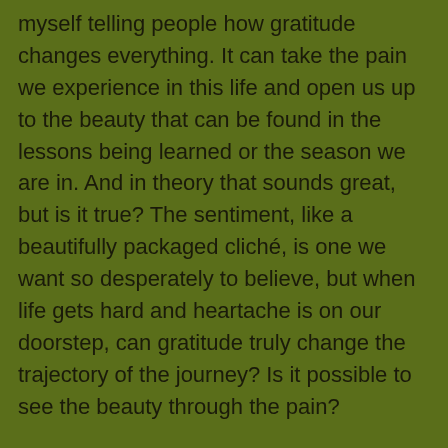myself telling people how gratitude changes everything. It can take the pain we experience in this life and open us up to the beauty that can be found in the lessons being learned or the season we are in. And in theory that sounds great, but is it true? The sentiment, like a beautifully packaged cliché, is one we want so desperately to believe, but when life gets hard and heartache is on our doorstep, can gratitude truly change the trajectory of the journey? Is it possible to see the beauty through the pain?
This past year has been difficult for me. Loss has marked my journey in a tremendous way. My father, my uncle, a beloved friend since childhood...all gone. With each passing a piece of my heart crumbled a little more. Yet, through the pain I had a choice to make; I could focus my attention on what was lost, and I became grateful for...